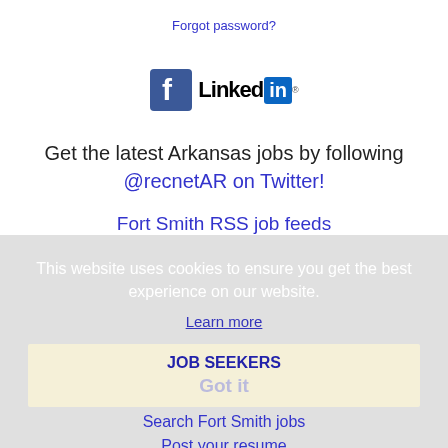Forgot password?
[Figure (logo): Facebook and LinkedIn social media logos side by side]
Get the latest Arkansas jobs by following @recnetAR on Twitter!
Fort Smith RSS job feeds
This website uses cookies to ensure you get the best experience on our website.
Learn more
JOB SEEKERS
Got it
Search Fort Smith jobs
Post your resume
Email job alerts